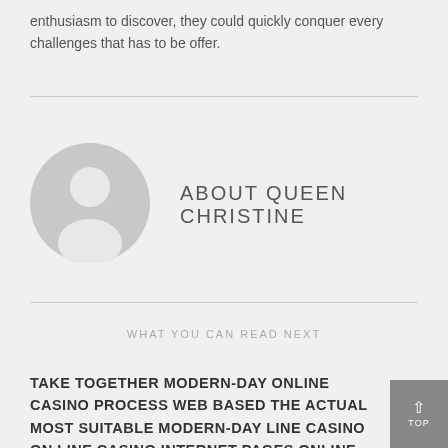enthusiasm to discover, they could quickly conquer every challenges that has to be offer.
[Figure (illustration): Circular avatar placeholder with a generic person silhouette in gray]
ABOUT QUEEN CHRISTINE
WHAT YOU CAN READ NEXT
TAKE TOGETHER MODERN-DAY ONLINE CASINO PROCESS WEB BASED THE ACTUAL MOST SUITABLE MODERN-DAY LINE CASINO ON LINE CASINO INTERNET PAGES ONLINE